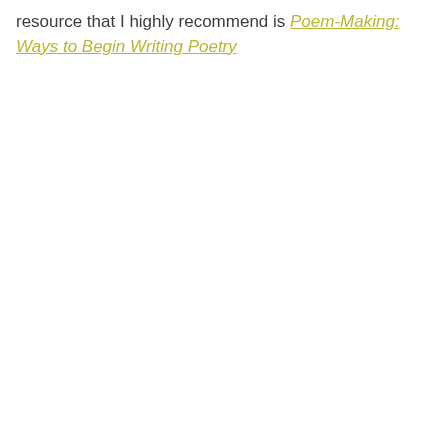resource that I highly recommend is Poem-Making: Ways to Begin Writing Poetry